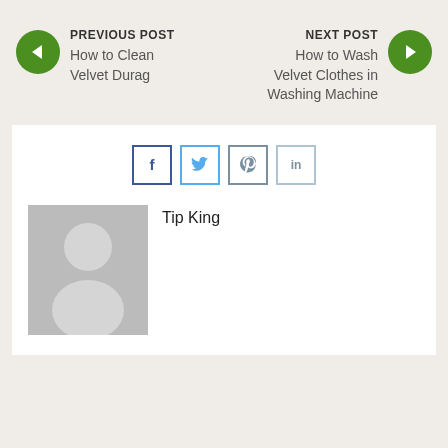PREVIOUS POST
How to Clean Velvet Durag
NEXT POST
How to Wash Velvet Clothes in Washing Machine
[Figure (other): Social share icons: Facebook, Twitter, Pinterest, LinkedIn]
[Figure (photo): Default user avatar placeholder image (gray silhouette)]
Tip King